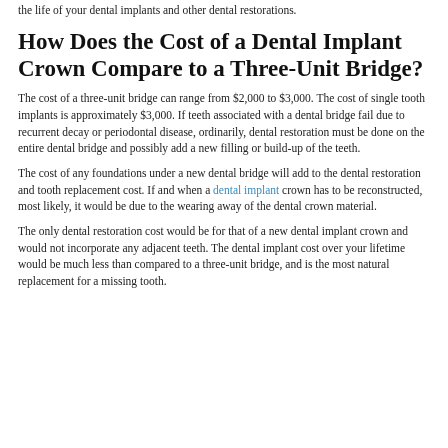the life of your dental implants and other dental restorations.
How Does the Cost of a Dental Implant Crown Compare to a Three-Unit Bridge?
The cost of a three-unit bridge can range from $2,000 to $3,000. The cost of single tooth implants is approximately $3,000. If teeth associated with a dental bridge fail due to recurrent decay or periodontal disease, ordinarily, dental restoration must be done on the entire dental bridge and possibly add a new filling or build-up of the teeth.
The cost of any foundations under a new dental bridge will add to the dental restoration and tooth replacement cost. If and when a dental implant crown has to be reconstructed, most likely, it would be due to the wearing away of the dental crown material.
The only dental restoration cost would be for that of a new dental implant crown and would not incorporate any adjacent teeth. The dental implant cost over your lifetime would be much less than compared to a three-unit bridge, and is the most natural replacement for a missing tooth.